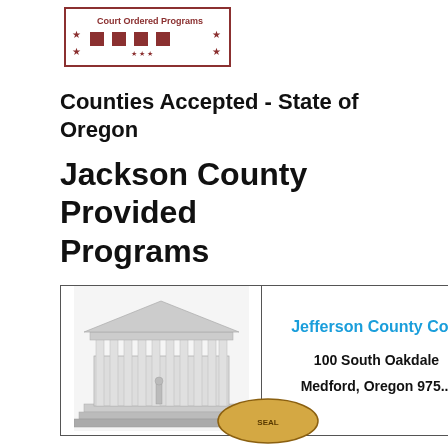[Figure (logo): Court Ordered Programs logo with stars and decorative border elements]
Counties Accepted - State of Oregon
Jackson County Provided Programs
|  |  |
| --- | --- |
| [courthouse image] | Jefferson County Co...
100 South Oakdale
Medford, Oregon 975... |
[Figure (logo): Small logo at bottom right, partially visible]